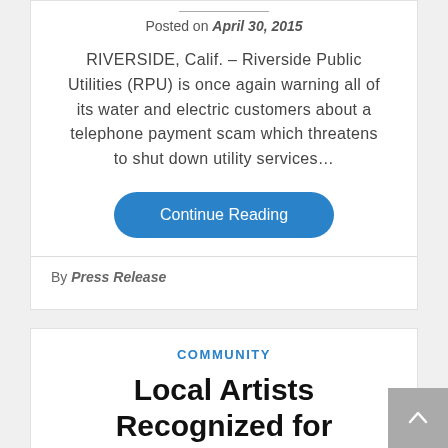Posted on April 30, 2015
RIVERSIDE, Calif. – Riverside Public Utilities (RPU) is once again warning all of its water and electric customers about a telephone payment scam which threatens to shut down utility services…
Continue Reading
By Press Release
COMMUNITY
Local Artists Recognized for Restoring Historical Statues